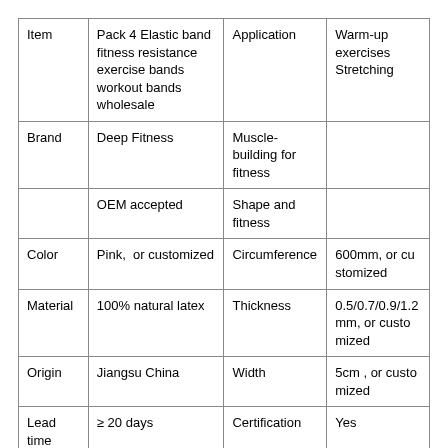| Item | Pack 4 Elastic band fitness resistance exercise bands workout bands wholesale | Application | Warm-up exercises Stretching |
| Brand | Deep Fitness | Muscle-building for fitness |  |
|  | OEM accepted | Shape and fitness |  |
| Color | Pink,  or customized | Circumference | 600mm, or customized |
| Material | 100% natural latex | Thickness | 0.5/0.7/0.9/1.2 mm, or customized |
| Origin | Jiangsu China | Width | 5cm , or customized |
| Lead time | ≥ 20 days | Certification | Yes |
|  |  |  | 100... |